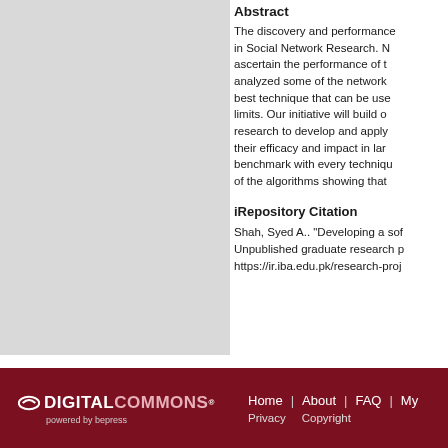[Figure (other): Gray rectangular image area on the left side of the page]
Abstract
The discovery and performance... in Social Network Research. N... ascertain the performance of t... analyzed some of the network... best technique that can be use... limits. Our initiative will build o... research to develop and apply... their efficacy and impact in lar... benchmark with every techniqu... of the algorithms showing that...
iRepository Citation
Shah, Syed A.. "Developing a sof... Unpublished graduate research p... https://ir.iba.edu.pk/research-proj...
Digital Commons powered by bepress | Home | About | FAQ | My... | Privacy | Copyright